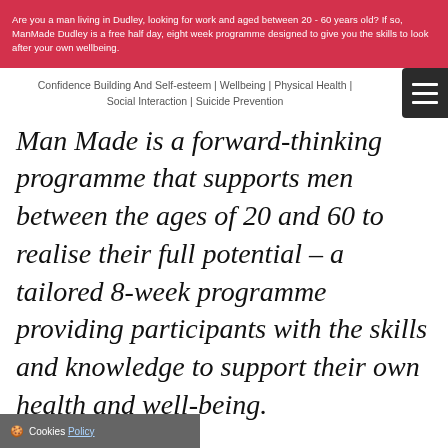[Figure (photo): Banner image with red/pink overlay containing white text advertising ManMade Dudley programme]
Confidence Building And Self-esteem | Wellbeing | Physical Health | Social Interaction | Suicide Prevention
Man Made is a forward-thinking programme that supports men between the ages of 20 and 60 to realise their full potential – a tailored 8-week programme providing participants with the skills and knowledge to support their own health and well-being.
Cookies Policy